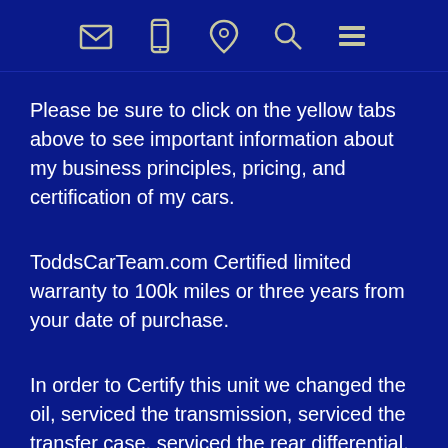[Navigation icons: email, phone, location, search, menu]
Please be sure to click on the yellow tabs above to see important information about my business principles, pricing, and certification of my cars.
ToddsCarTeam.com Certified limited warranty to 100k miles or three years from your date of purchase.
In order to Certify this unit we changed the oil, serviced the transmission, serviced the transfer case, serviced the rear differential, replaced the control arms, flushed the brake fluid, performed front and rear brake jobs, replaced the rear shocks, replaced the tires, performed an alignment, changed the cabin and engine air filters, replaced the wiper blades, performed an upper engine fuel cleaning and added a fuel system treatment